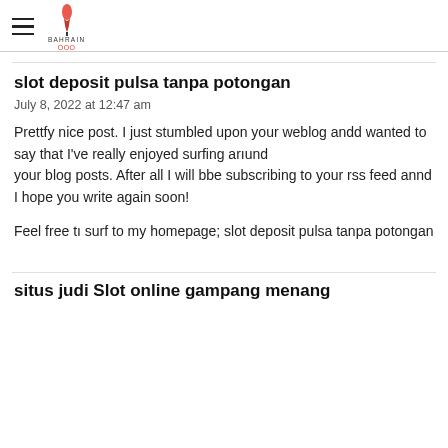Bahrain Olympic Committee
slot deposit pulsa tanpa potongan
July 8, 2022 at 12:47 am
Prettfy nice post. I just stumbled upon your weblog andd wanted to say that I've really enjoyed surfing arıund
your blog posts. After all I will bbe subscribing to your rss feed annd I hope you write again soon!
Feel free tı surf to my homepage; slot deposit pulsa tanpa potongan
situs judi Slot online gampang menang